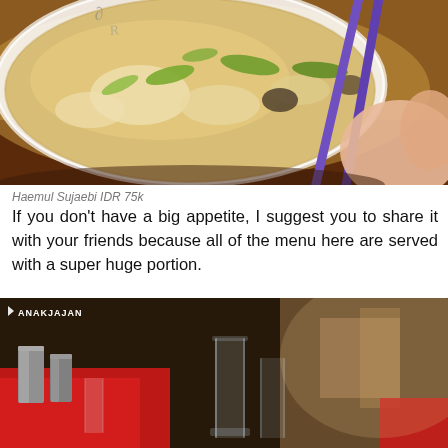[Figure (photo): A white bowl of Haemul Sujaebi (Korean seafood hand-torn noodle soup) with visible vegetables and noodles in broth, purple chopsticks, being held by a person's hand, on a dark wooden table.]
Haemul Sujaebi IDR 75k
If you don't have a big appetite, I suggest you to share it with your friends because all of the menu here are served with a super huge portion.
[Figure (photo): Interior of a Korean restaurant showing a table setting with red tablecloth, metallic cups, glasses, and items on the table. Background shows blurred restaurant interior with chairs visible.]